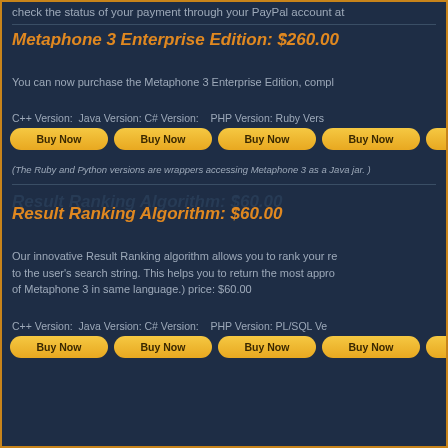check the status of your payment through your PayPal account at
Metaphone 3 Enterprise Edition: $260.00
You can now purchase the Metaphone 3 Enterprise Edition, compl
C++ Version:  Java Version: C# Version:    PHP Version: Ruby Vers
Buy Now  Buy Now  Buy Now  Buy Now  Buy Now
(The Ruby and Python versions are wrappers accessing Metaphone 3 as a Java jar. )
Result Ranking Algorithm: $60.00
Our innovative Result Ranking algorithm allows you to rank your re to the user's search string. This helps you to return the most appro of Metaphone 3 in same language.) price: $60.00
C++ Version:  Java Version: C# Version:    PHP Version: PL/SQL Ve
Buy Now  Buy Now  Buy Now  Buy Now  Buy Now